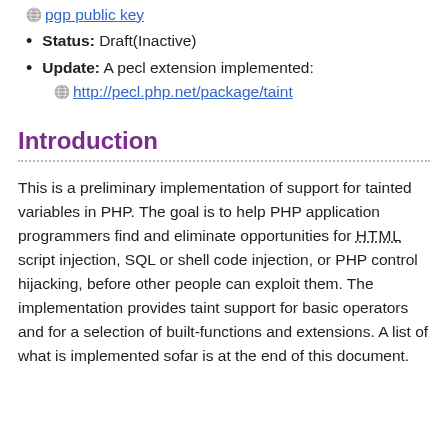pgp public key (link)
Status: Draft(Inactive)
Update: A pecl extension implemented: http://pecl.php.net/package/taint
Introduction
This is a preliminary implementation of support for tainted variables in PHP. The goal is to help PHP application programmers find and eliminate opportunities for HTML script injection, SQL or shell code injection, or PHP control hijacking, before other people can exploit them. The implementation provides taint support for basic operators and for a selection of built-functions and extensions. A list of what is implemented sofar is at the end of this document.